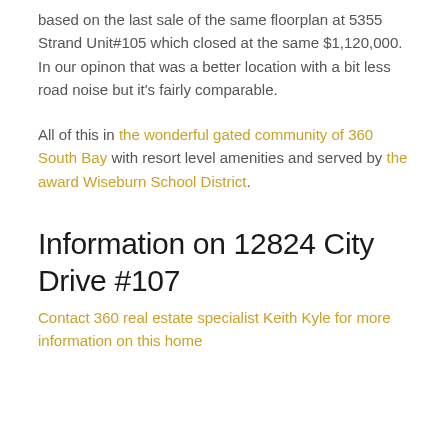based on the last sale of the same floorplan at 5355 Strand Unit#105 which closed at the same $1,120,000. In our opinon that was a better location with a bit less road noise but it's fairly comparable.
All of this in the wonderful gated community of 360 South Bay with resort level amenities and served by the award Wiseburn School District.
Information on 12824 City Drive #107
Contact 360 real estate specialist Keith Kyle for more information on this home